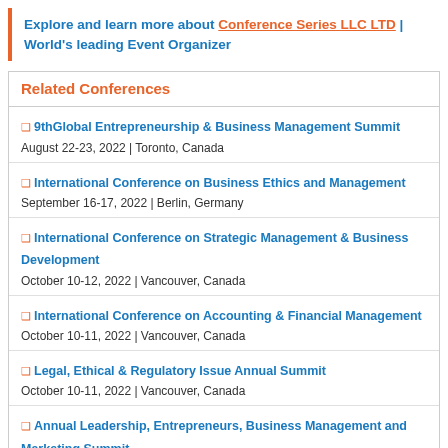Explore and learn more about Conference Series LLC LTD | World's leading Event Organizer
Related Conferences
9thGlobal Entrepreneurship & Business Management Summit
August 22-23, 2022 | Toronto, Canada
International Conference on Business Ethics and Management
September 16-17, 2022 | Berlin, Germany
International Conference on Strategic Management & Business Development
October 10-12, 2022 | Vancouver, Canada
International Conference on Accounting & Financial Management
October 10-11, 2022 | Vancouver, Canada
Legal, Ethical & Regulatory Issue Annual Summit
October 10-11, 2022 | Vancouver, Canada
Annual Leadership, Entrepreneurs, Business Management and Marketing Summit
October 10-11, 2022 | Vancouver, Canada
Annual World Economic and Business Forum